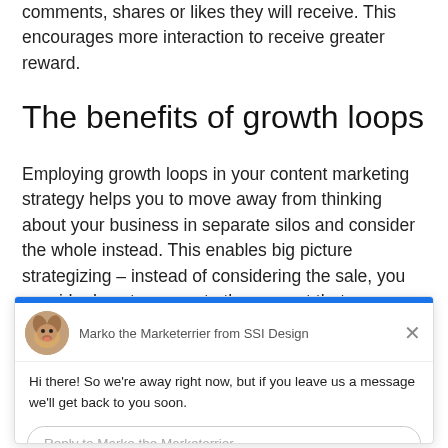comments, shares or likes they will receive. This encourages more interaction to receive greater reward.
The benefits of growth loops
Employing growth loops in your content marketing strategy helps you to move away from thinking about your business in separate silos and consider the whole instead. This enables big picture strategizing – instead of considering the sale, you consider how to generate th…ent that encourages 'word-of-mouth'
[Figure (screenshot): Chat widget overlay from Drift showing Marko the Marketerrier from SSI Design. Blue header bar, dog avatar, greeting message 'Hi there! So we're away right now, but if you leave us a message we'll get back to you soon.' and reply input field. Footer reads 'Chat ⚡ by Drift'.]